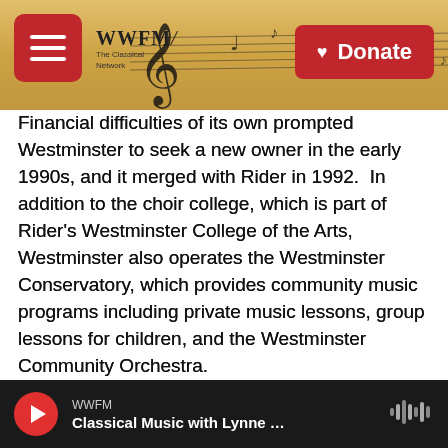WWFM The Classical Network — Header with Donate button
Financial difficulties of its own prompted Westminster to seek a new owner in the early 1990s, and it merged with Rider in 1992.  In addition to the choir college, which is part of Rider's Westminster College of the Arts, Westminster also operates the Westminster Conservatory, which provides community music programs including private music lessons, group lessons for children, and the Westminster Community Orchestra.
Dell'Omo said the board considered the input of the Coalition and students as it began to study its options.
WWFM Classical Music with Lynne …